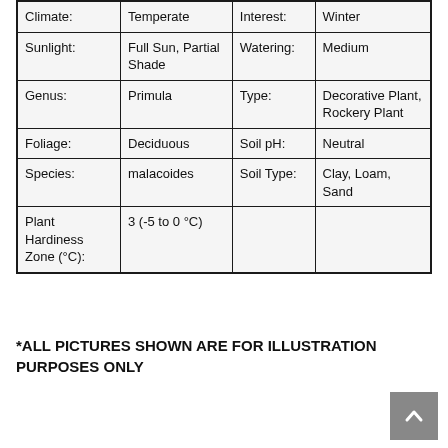|  |  |  |  |
| --- | --- | --- | --- |
| Climate: | Temperate | Interest: | Winter |
| Sunlight: | Full Sun, Partial Shade | Watering: | Medium |
| Genus: | Primula | Type: | Decorative Plant, Rockery Plant |
| Foliage: | Deciduous | Soil pH: | Neutral |
| Species: | malacoides | Soil Type: | Clay, Loam, Sand |
| Plant Hardiness Zone (°C): | 3 (-5 to 0 °C) |  |  |
*ALL PICTURES SHOWN ARE FOR ILLUSTRATION PURPOSES ONLY